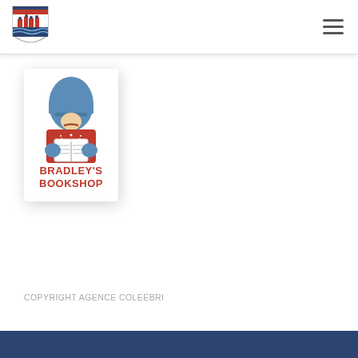[Figure (logo): Shield/coat of arms logo in the page header, top left]
[Figure (logo): Bradley's Bookshop logo card: a British Queen's Guard soldier figure in red uniform with blue bearskin hat reading a book, with text BRADLEY'S BOOKSHOP in red below]
COPYRIGHT AGENCE COLEEBRI